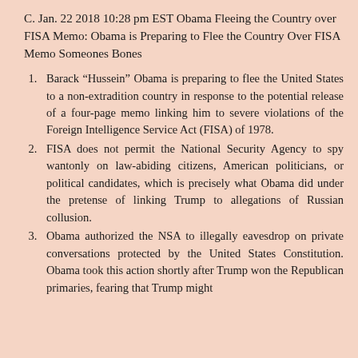C. Jan. 22 2018 10:28 pm EST Obama Fleeing the Country over FISA Memo: Obama is Preparing to Flee the Country Over FISA Memo Someones Bones
Barack “Hussein” Obama is preparing to flee the United States to a non-extradition country in response to the potential release of a four-page memo linking him to severe violations of the Foreign Intelligence Service Act (FISA) of 1978.
FISA does not permit the National Security Agency to spy wantonly on law-abiding citizens, American politicians, or political candidates, which is precisely what Obama did under the pretense of linking Trump to allegations of Russian collusion.
Obama authorized the NSA to illegally eavesdrop on private conversations protected by the United States Constitution. Obama took this action shortly after Trump won the Republican primaries, fearing that Trump might